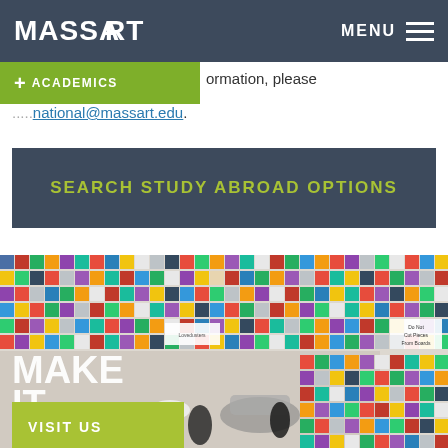MASSART
MENU
+ ACADEMICS
ormation, please
national@massart.edu.
SEARCH STUDY ABROAD OPTIONS
[Figure (photo): Art studio wall covered with colorful fabric swatches and samples arranged in a grid. Sewing machine and lamp visible in foreground. Text overlays: MAKE IT HAPPEN. Button: VISIT US.]